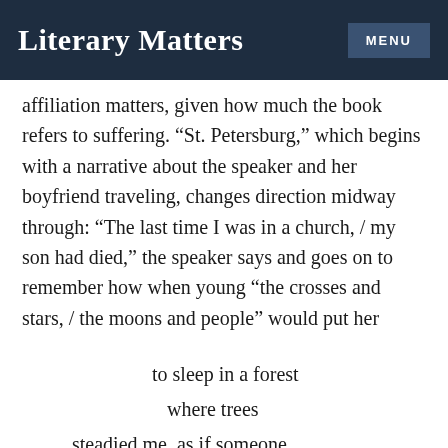Literary Matters  MENU
affiliation matters, given how much the book refers to suffering. “St. Petersburg,” which begins with a narrative about the speaker and her boyfriend traveling, changes direction midway through: “The last time I was in a church, / my son had died,” the speaker says and goes on to remember how when young “the crosses and stars, / the moons and people” would put her
to sleep in a forest
where trees
steadied me, as if someone

had reached out, the muscle